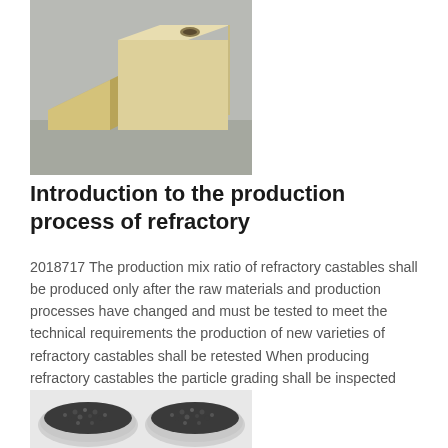[Figure (photo): Two refractory brick/block shapes on a grey surface — a rectangular block with a hole on top and a wedge-shaped piece]
Introduction to the production process of refractory
2018717 The production mix ratio of refractory castables shall be produced only after the raw materials and production processes have changed and must be tested to meet the technical requirements the production of new varieties of refractory castables shall be retested When producing refractory castables the particle grading shall be inspected
[Figure (photo): Two round bowls/trays filled with dark granular refractory aggregate particles on a white surface]